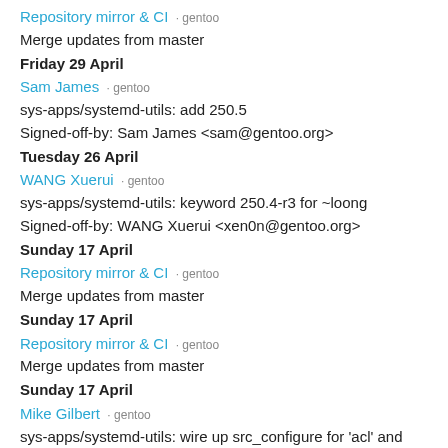Repository mirror & CI · gentoo
Merge updates from master
Friday 29 April
Sam James · gentoo
sys-apps/systemd-utils: add 250.5
Signed-off-by: Sam James <sam@gentoo.org>
Tuesday 26 April
WANG Xuerui · gentoo
sys-apps/systemd-utils: keyword 250.4-r3 for ~loong
Signed-off-by: WANG Xuerui <xen0n@gentoo.org>
Sunday 17 April
Repository mirror & CI · gentoo
Merge updates from master
Sunday 17 April
Repository mirror & CI · gentoo
Merge updates from master
Sunday 17 April
Mike Gilbert · gentoo
sys-apps/systemd-utils: wire up src_configure for 'acl' and 'kmod'
Signed-off-by: Mike Gilbert <floppym@gentoo.org>
Sunday 17 April
Mike Gilbert · gentoo